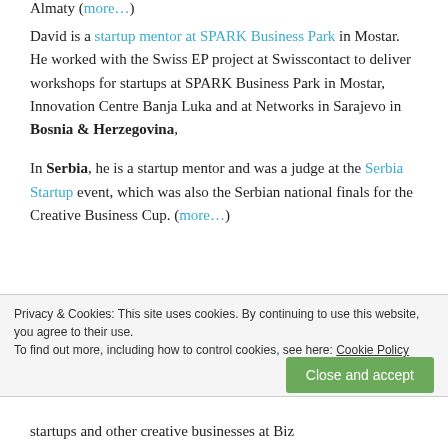Almaty (more...)
David is a startup mentor at SPARK Business Park in Mostar. He worked with the Swiss EP project at Swisscontact to deliver workshops for startups at SPARK Business Park in Mostar, Innovation Centre Banja Luka and at Networks in Sarajevo in Bosnia & Herzegovina,
In Serbia, he is a startup mentor and was a judge at the Serbia Startup event, which was also the Serbian national finals for the Creative Business Cup. (more...)
Privacy & Cookies: This site uses cookies. By continuing to use this website, you agree to their use.
To find out more, including how to control cookies, see here: Cookie Policy
startups and other creative businesses at Biz